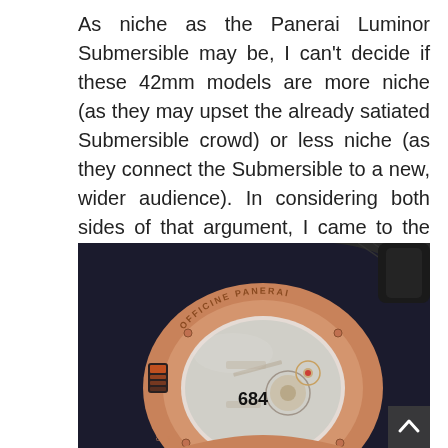As niche as the Panerai Luminor Submersible may be, I can't decide if these 42mm models are more niche (as they may upset the already satiated Submersible crowd) or less niche (as they connect the Submersible to a new, wider audience). In considering both sides of that argument, I came to the conclusion that I don't really care. I just know that I really love this little Sub.
[Figure (photo): Close-up photograph of the caseback of a Panerai Luminor Submersible watch in rose gold with a black rubber strap. The caseback displays 'OFFICINE PANERAI' engraved around the edge and shows the movement through a display back, with the number 684 visible. The movement shows gears and a balance wheel.]